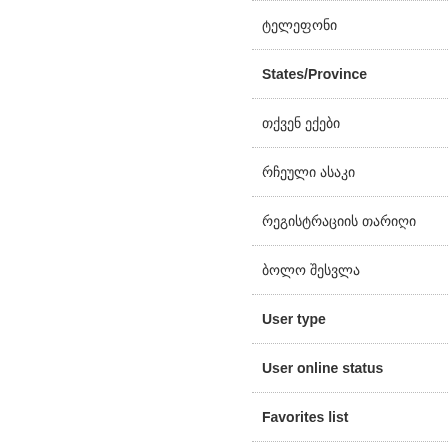ტელეფონი
States/Province
თქვენ ექები
რჩეული ასაკი
რეგისტრაციის თარიღი
ბოლო შესვლა
User type
User online status
Favorites list
Blog
Forum posts
Rate this profile
(1 - Worse, 10 - Better)
No comments available.